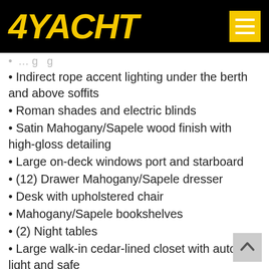4YACHT
Indirect rope accent lighting under the berth and above soffits
Roman shades and electric blinds
Satin Mahogany/Sapele wood finish with high-gloss detailing
Large on-deck windows port and starboard
(12) Drawer Mahogany/Sapele dresser
Desk with upholstered chair
Mahogany/Sapele bookshelves
(2) Night tables
Large walk-in cedar-lined closet with auto light and safe
42" LCD TV
Kaleidoscope player